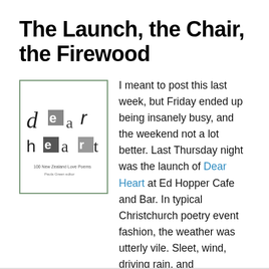The Launch, the Chair, the Firewood
[Figure (photo): Book cover of 'Dear Heart' — a collection of New Zealand love poems, showing collaged letterforms on the cover.]
I meant to post this last week, but Friday ended up being insanely busy, and the weekend not a lot better. Last Thursday night was the launch of Dear Heart at Ed Hopper Cafe and Bar. In typical Christchurch poetry event fashion, the weather was utterly vile. Sleet, wind, driving rain, and temperatures that refused to go above owarghmyunderwearhasfrozenowow. Paula Green had